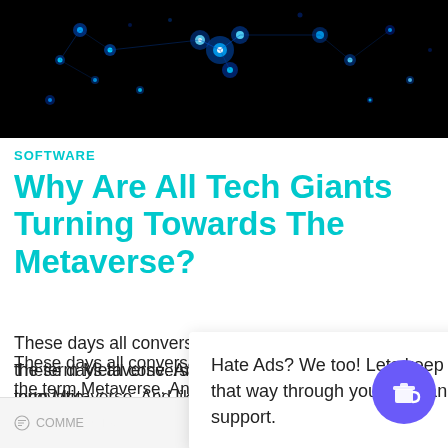[Figure (photo): Dark background with glowing blue and white particle/dot network visualization representing a digital or metaverse concept]
SOFTWARE
Why Are All Tech Giants Turning Towards The Metaverse?
These days all conversations are revolving around the term Metaverse. And like most recent innovatio... t's agree that talki... ld....
Hate Ads? We too! Lets keep it that way through your love and support.
COMMENTS
MBE